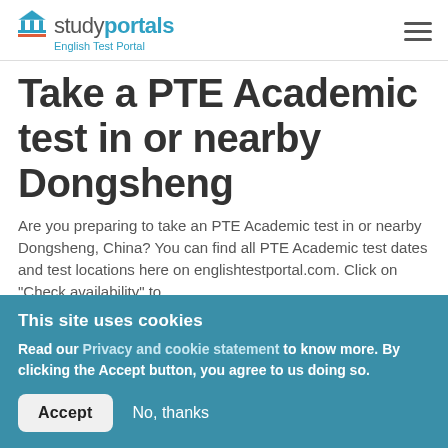studyportals — English Test Portal
Take a PTE Academic test in or nearby Dongsheng
Are you preparing to take an PTE Academic test in or nearby Dongsheng, China? You can find all PTE Academic test dates and test locations here on englishtestportal.com. Click on "Check availability" to
This site uses cookies
Read our Privacy and cookie statement to know more. By clicking the Accept button, you agree to us doing so.
Accept   No, thanks